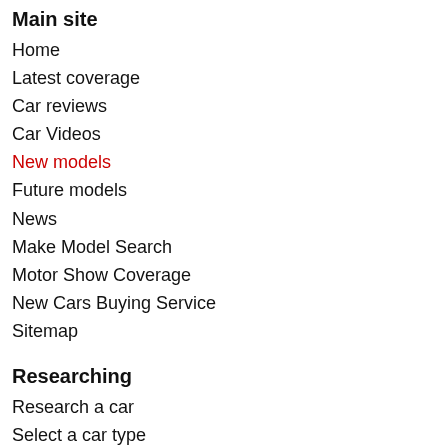Main site
Home
Latest coverage
Car reviews
Car Videos
New models
Future models
News
Make Model Search
Motor Show Coverage
New Cars Buying Service
Sitemap
Researching
Research a car
Select a car type
Research cars by brand
Which car?
New car diary
Green coverage
Used car research
Compar…